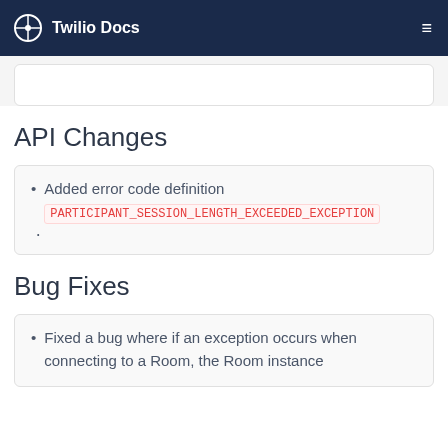Twilio Docs
API Changes
Added error code definition PARTICIPANT_SESSION_LENGTH_EXCEEDED_EXCEPTION
Bug Fixes
Fixed a bug where if an exception occurs when connecting to a Room, the Room instance